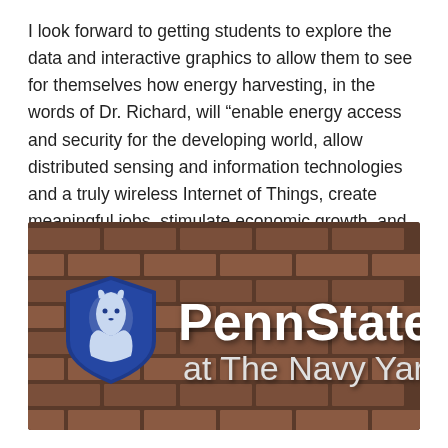I look forward to getting students to explore the data and interactive graphics to allow them to see for themselves how energy harvesting, in the words of Dr. Richard, will “enable energy access and security for the developing world, allow distributed sensing and information technologies and a truly wireless Internet of Things, create meaningful jobs, stimulate economic growth, and transform the way we manage the planet.”
[Figure (photo): Penn State at The Navy Yard sign mounted on a brick wall. The sign features the Penn State Nittany Lion shield logo (blue shield with white lion) on the left, and the text 'PennState at The Navy Yard' in white on the right.]